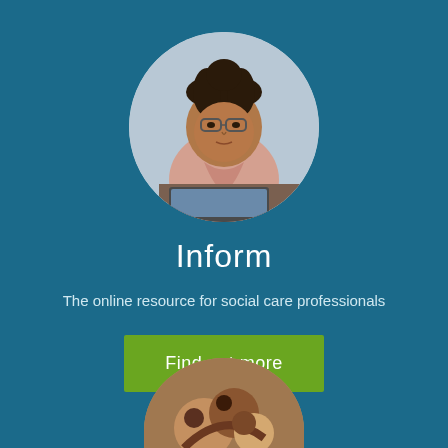[Figure (photo): Circular cropped photo of a woman with glasses sitting at a desk working on a laptop, wearing a pink shirt, looking focused.]
Inform
The online resource for social care professionals
Find out more
[Figure (photo): Partially visible circular cropped photo at the bottom of the page showing food or craft materials.]